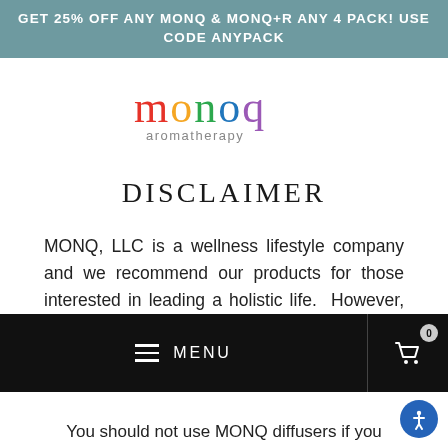GET 25% OFF ANY MONQ & MONQ+R ANY 4 PACK! USE CODE ANYPACK
[Figure (logo): MONQ aromatherapy logo with rainbow colored lettering]
DISCLAIMER
MONQ, LLC is a wellness lifestyle company and we recommend our products for those interested in leading a holistic life.  However, everyone is different and you may have a
[Figure (screenshot): Black navigation menu bar with hamburger icon and MENU text on left, shopping cart icon with badge showing 0 on right]
You should not use MONQ diffusers if you